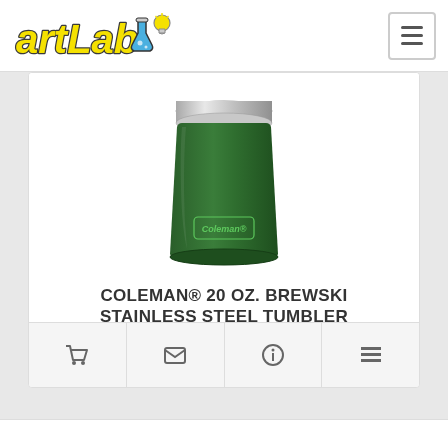artLab [logo with lab flask and lightbulb]
[Figure (photo): Coleman dark green stainless steel tumbler with silver rim, product photo on white background]
COLEMAN® 20 OZ. BREWSKI STAINLESS STEEL TUMBLER
# CCLM004 Full Color Digital
5 day production time
$30.65 - $38.18 | Min Qty 24